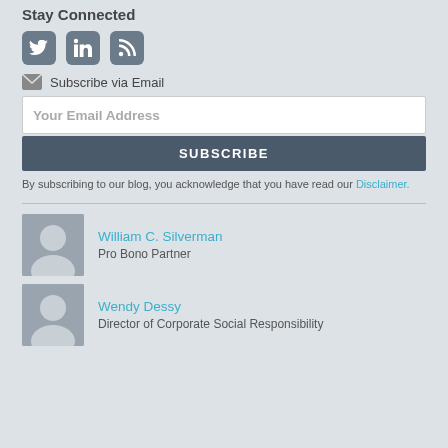Stay Connected
[Figure (illustration): Social media icons: Twitter, LinkedIn, RSS feed]
Subscribe via Email
Your Email Address
SUBSCRIBE
By subscribing to our blog, you acknowledge that you have read our Disclaimer.
[Figure (photo): Headshot of William C. Silverman]
William C. Silverman
Pro Bono Partner
[Figure (photo): Headshot of Wendy Dessy]
Wendy Dessy
Director of Corporate Social Responsibility